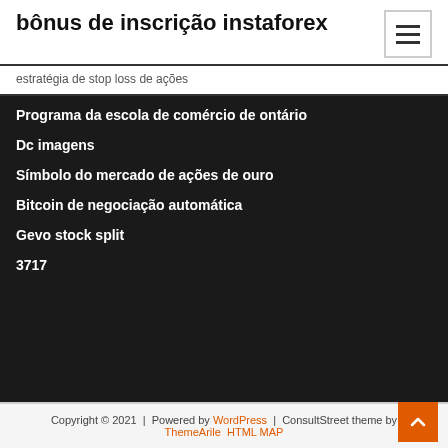bônus de inscrição instaforex
estratégia de stop loss de ações
Programa da escola de comércio de ontário
Dc imagens
Símbolo do mercado de ações de ouro
Bitcoin de negociação automática
Gevo stock split
3717
Copyright © 2021 | Powered by WordPress | ConsultStreet theme by ThemeArile HTML MAP